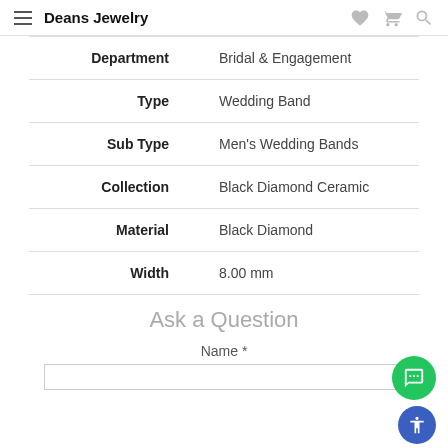Deans Jewelry
| Attribute | Value |
| --- | --- |
| Department | Bridal & Engagement |
| Type | Wedding Band |
| Sub Type | Men's Wedding Bands |
| Collection | Black Diamond Ceramic |
| Material | Black Diamond |
| Width | 8.00 mm |
Ask a Question
Name *